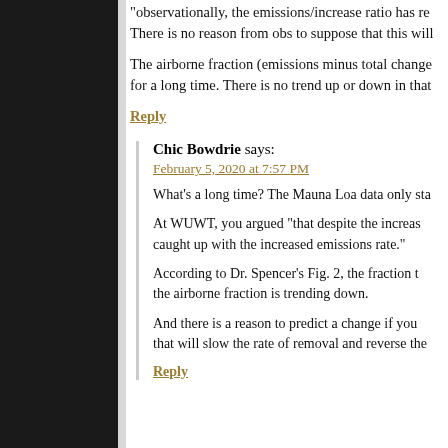“observationally, the emissions/increase ratio has re… There is no reason from obs to suppose that this will…
The airborne fraction (emissions minus total change… for a long time. There is no trend up or down in that…
Reply
Chic Bowdrie says:
February 5, 2020 at 7:57 PM
What’s a long time? The Mauna Loa data only sta…
At WUWT, you argued “that despite the increas… caught up with the increased emissions rate.”
According to Dr. Spencer’s Fig. 2, the fraction t… the airborne fraction is trending down.
And there is a reason to predict a change if you… that will slow the rate of removal and reverse the…
Reply